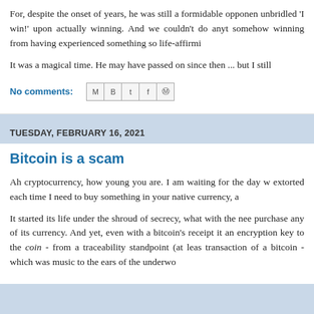For, despite the onset of years, he was still a formidable opponen unbridled 'I win!' upon actually winning. And we couldn't do anyt somehow winning from having experienced something so life-affirmi
It was a magical time. He may have passed on since then ... but I still
No comments:
TUESDAY, FEBRUARY 16, 2021
Bitcoin is a scam
Ah cryptocurrency, how young you are. I am waiting for the day w extorted each time I need to buy something in your native currency, a
It started its life under the shroud of secrecy, what with the nee purchase any of its currency. And yet, even with a bitcoin's receipt it an encryption key to the coin - from a traceability standpoint (at leas transaction of a bitcoin - which was music to the ears of the underwo